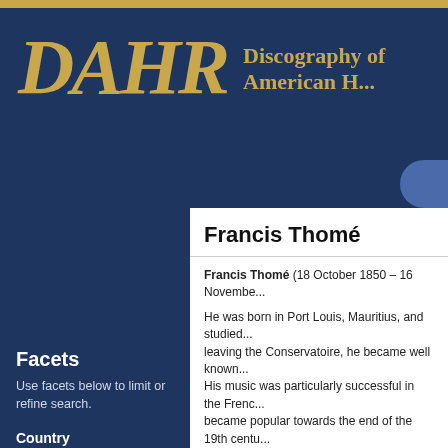DAHR — Discography of American Historical Recordings
Francis Thomé
Francis Thomé (18 October 1850 – 16 November ...) He was born in Port Louis, Mauritius, and studied... leaving the Conservatoire, he became well known... His music was particularly successful in the French... became popular towards the end of the 19th centu... works, which encompassed various genres, inclu... and operettas, such as Le Baron Frick (1885), the... Joncières.
Continue reading at Wikipedia...
Facets
Use facets below to limit or refine search.
Country